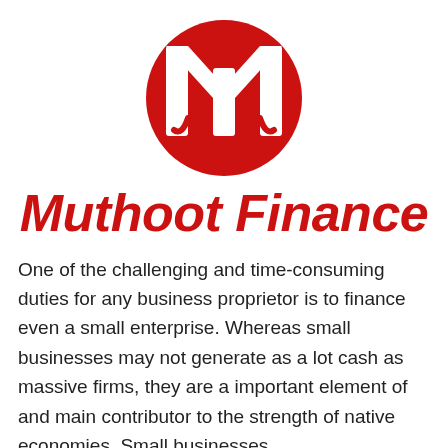[Figure (logo): Muthoot Finance logo: white stylized M letter inside a red circle]
Muthoot Finance
One of the challenging and time-consuming duties for any business proprietor is to finance even a small enterprise. Whereas small businesses may not generate as a lot cash as massive firms, they are a important element of and main contributor to the strength of native economies. Small businesses